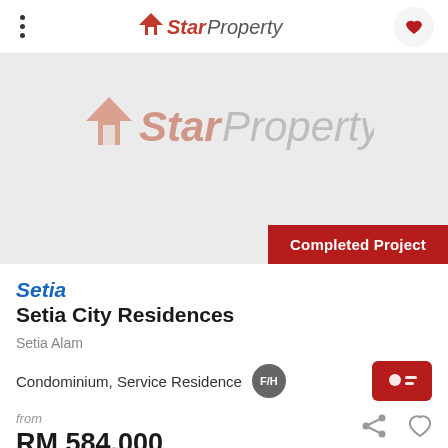StarProperty
[Figure (logo): StarProperty watermark logo on grey placeholder background with 'Completed Project' red badge]
Setia
Setia City Residences
Setia Alam
Condominium, Service Residence F/H
from
RM 584,000